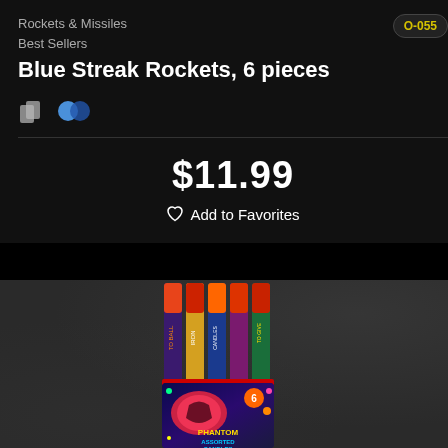Rockets & Missiles
Best Sellers
O-055
Blue Streak Rockets, 6 pieces
$11.99
Add to Favorites
[Figure (photo): Product photo of Phantom Assorted Candles fireworks rockets, 6 pieces, shown as a bundle of colorful rocket sticks with bright packaging at the bottom]